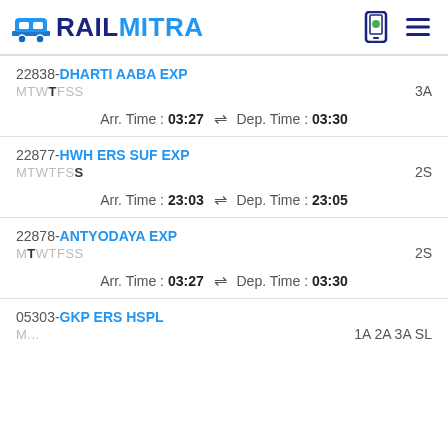RAILMITRA
22838-DHARTI AABA EXP, MTWTFSS, 3A, Arr. Time: 03:27, Dep. Time: 03:30
22877-HWH ERS SUF EXP, MTWTFSS, 2S, Arr. Time: 23:03, Dep. Time: 23:05
22878-ANTYODAYA EXP, MTWTFSS, 2S, Arr. Time: 03:27, Dep. Time: 03:30
05303-GKP ERS HSPL, MTWTFSS, 1A 2A 3A SL